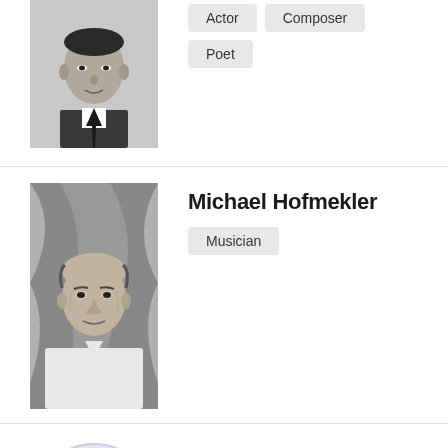[Figure (photo): Black and white portrait photo of a man in a suit, partially cropped at top]
Actor  Composer  Poet
[Figure (photo): Black and white photo of Michael Hofmekler, elderly man in white shirt]
Michael Hofmekler
Musician
[Figure (illustration): Silhouette placeholder avatar in a circle]
Moshe Diskant
Poet